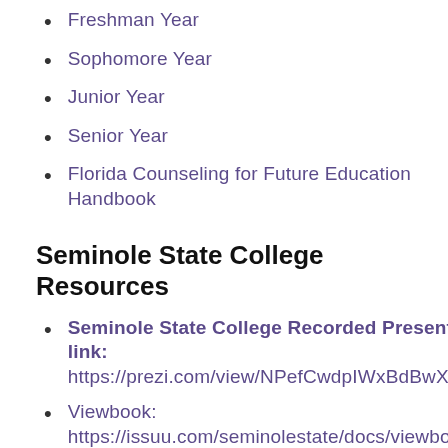Freshman Year
Sophomore Year
Junior Year
Senior Year
Florida Counseling for Future Education Handbook
Seminole State College Resources
Seminole State College Recorded Presentation link: https://prezi.com/view/NPefCwdpIWxBdBwXKudX/
Viewbook: https://issuu.com/seminolestate/docs/viewbook_exp